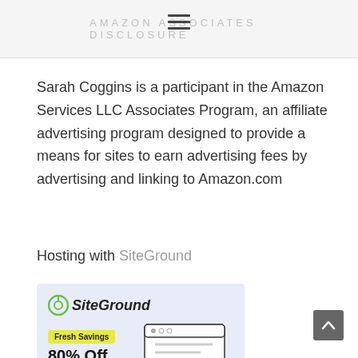AMAZON ASSOCIATES DISCLOSURE
Sarah Coggins is a participant in the Amazon Services LLC Associates Program, an affiliate advertising program designed to provide a means for sites to earn advertising fees by advertising and linking to Amazon.com
Hosting with SiteGround
[Figure (illustration): SiteGround advertisement banner with logo, 'Fresh Savings' badge, '80% Off Hosting & Free Transfer' headline, and browser/lemon illustration on light blue background]